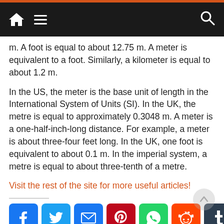Navigation bar with home, menu, and search icons
m. A foot is equal to about 12.75 m. A meter is equivalent to a foot. Similarly, a kilometer is equal to about 1.2 m.
In the US, the meter is the base unit of length in the International System of Units (SI). In the UK, the metre is equal to approximately 0.3048 m. A meter is a one-half-inch-long distance. For example, a meter is about three-four feet long. In the UK, one foot is equivalent to about 0.1 m. In the imperial system, a metre is equal to about three-tenth of a metre.
Visit the rest of the site for more useful articles!
[Figure (other): Social media share buttons: Facebook, Twitter, Email, Pinterest, WhatsApp, Reddit, Tumblr, Plus]